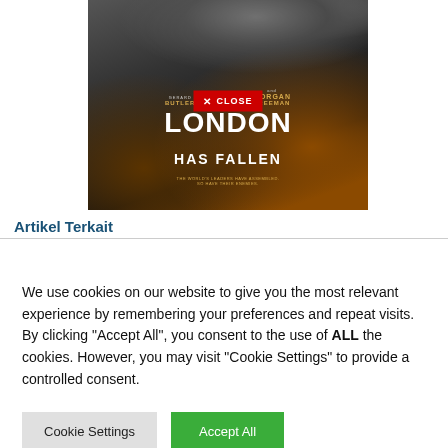[Figure (photo): Movie poster for 'London Has Fallen' featuring Gerard Butler, Aaron Eckhart, and Morgan Freeman. Dark action movie poster with debris and fire. A red 'X CLOSE' button overlaid in the center.]
Artikel Terkait
We use cookies on our website to give you the most relevant experience by remembering your preferences and repeat visits. By clicking "Accept All", you consent to the use of ALL the cookies. However, you may visit "Cookie Settings" to provide a controlled consent.